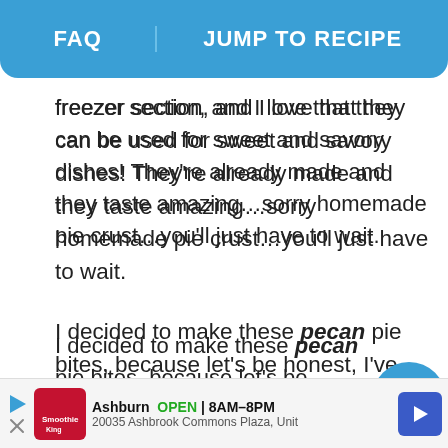FAQ | JUMP TO RECIPE
freezer section, and I love that they can be used for sweet and savory dishes! They’re already made and they taste amazing…sorry homemade pie crust…you’ll just have to wait.
I decided to make these pecan pie bites, because let’s be honest, I’ve been hitting you guys over the head with all my pumpkin and apple recipes: vegan pumpkin muffins, pumpkin french toast, salted caramel apple bars, caramel apple dessert pizza…
etc.
Ashburn OPEN 8AM–8PM 20035 Ashbrook Commons Plaza, Unit